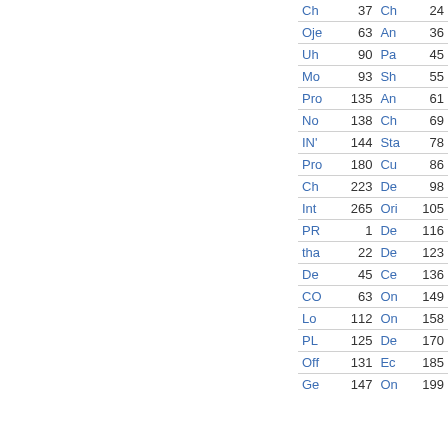| Name | Num | Name | Num |
| --- | --- | --- | --- |
| Ch | 37 | Ch | 24 |
| Oje | 63 | An | 36 |
| Uh | 90 | Pa | 45 |
| Mo | 93 | Sh | 55 |
| Pro | 135 | An | 61 |
| No | 138 | Ch | 69 |
| IN' | 144 | Sta | 78 |
| Pro | 180 | Cu | 86 |
| Ch | 223 | De | 98 |
| Int | 265 | Ori | 105 |
| PR | 1 | De | 116 |
| tha | 22 | De | 123 |
| De | 45 | Ce | 136 |
| CO | 63 | On | 149 |
| Lo | 112 | On | 158 |
| PL | 125 | De | 170 |
| Off | 131 | Ec | 185 |
| Ge | 147 | On | 199 |